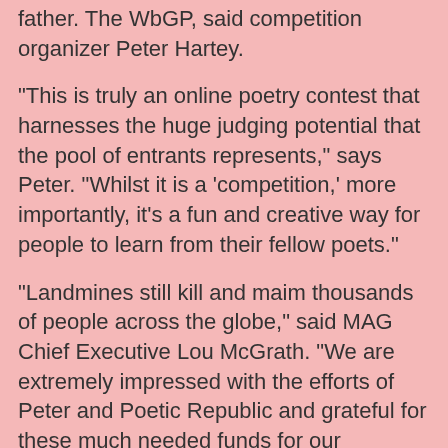father. The WbGP, said competition organizer Peter Hartey.
“This is truly an online poetry contest that harnesses the huge judging potential that the pool of entrants represents,” says Peter. “Whilst it is a ‘competition,’ more importantly, it’s a fun and creative way for people to learn from their fellow poets.”
“Landmines still kill and maim thousands of people across the globe,” said MAG Chief Executive Lou McGrath. “We are extremely impressed with the efforts of Peter and Poetic Republic and grateful for these much needed funds for our clearance work.”
For more details and to submit an entry, visit Poetic Republic
The closing date for the competition is April 30, 2009.
MAG is a neutral and impartial humanitarian organisation clearing the remnants of conflict for the benefit of communities worldwide. MAG is co-laureate of the 1997 Nobel Peace Prize, awarded for its work with the International Campaign to Ban Landmines (ICBL), which